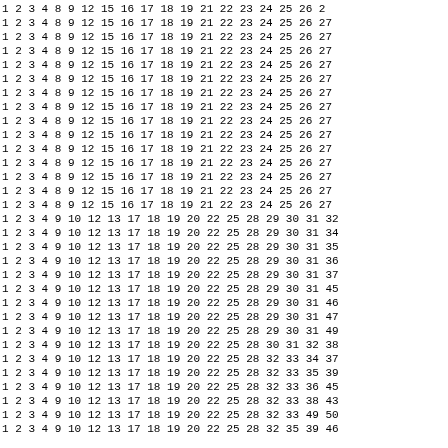| 1 | 2 | 3 | 4 | 8 | 9 | 12 | 15 | 16 | 17 | 18 | 19 | 21 | 22 | 23 | 24 | 25 | 26 | 2 |
| 1 | 2 | 3 | 4 | 8 | 9 | 12 | 15 | 16 | 17 | 18 | 19 | 21 | 22 | 23 | 24 | 25 | 26 | 27 |
| 1 | 2 | 3 | 4 | 8 | 9 | 12 | 15 | 16 | 17 | 18 | 19 | 21 | 22 | 23 | 24 | 25 | 26 | 27 |
| 1 | 2 | 3 | 4 | 8 | 9 | 12 | 15 | 16 | 17 | 18 | 19 | 21 | 22 | 23 | 24 | 25 | 26 | 27 |
| 1 | 2 | 3 | 4 | 8 | 9 | 12 | 15 | 16 | 17 | 18 | 19 | 21 | 22 | 23 | 24 | 25 | 26 | 27 |
| 1 | 2 | 3 | 4 | 8 | 9 | 12 | 15 | 16 | 17 | 18 | 19 | 21 | 22 | 23 | 24 | 25 | 26 | 27 |
| 1 | 2 | 3 | 4 | 8 | 9 | 12 | 15 | 16 | 17 | 18 | 19 | 21 | 22 | 23 | 24 | 25 | 26 | 27 |
| 1 | 2 | 3 | 4 | 8 | 9 | 12 | 15 | 16 | 17 | 18 | 19 | 21 | 22 | 23 | 24 | 25 | 26 | 27 |
| 1 | 2 | 3 | 4 | 8 | 9 | 12 | 15 | 16 | 17 | 18 | 19 | 21 | 22 | 23 | 24 | 25 | 26 | 27 |
| 1 | 2 | 3 | 4 | 8 | 9 | 12 | 15 | 16 | 17 | 18 | 19 | 21 | 22 | 23 | 24 | 25 | 26 | 27 |
| 1 | 2 | 3 | 4 | 8 | 9 | 12 | 15 | 16 | 17 | 18 | 19 | 21 | 22 | 23 | 24 | 25 | 26 | 27 |
| 1 | 2 | 3 | 4 | 8 | 9 | 12 | 15 | 16 | 17 | 18 | 19 | 21 | 22 | 23 | 24 | 25 | 26 | 27 |
| 1 | 2 | 3 | 4 | 8 | 9 | 12 | 15 | 16 | 17 | 18 | 19 | 21 | 22 | 23 | 24 | 25 | 26 | 27 |
| 1 | 2 | 3 | 4 | 8 | 9 | 12 | 15 | 16 | 17 | 18 | 19 | 21 | 22 | 23 | 24 | 25 | 26 | 27 |
| 1 | 2 | 3 | 4 | 8 | 9 | 12 | 15 | 16 | 17 | 18 | 19 | 21 | 22 | 23 | 24 | 25 | 26 | 27 |
| 1 | 2 | 3 | 4 | 9 | 10 | 12 | 13 | 17 | 18 | 19 | 20 | 22 | 25 | 28 | 29 | 30 | 31 | 32 |
| 1 | 2 | 3 | 4 | 9 | 10 | 12 | 13 | 17 | 18 | 19 | 20 | 22 | 25 | 28 | 29 | 30 | 31 | 34 |
| 1 | 2 | 3 | 4 | 9 | 10 | 12 | 13 | 17 | 18 | 19 | 20 | 22 | 25 | 28 | 29 | 30 | 31 | 35 |
| 1 | 2 | 3 | 4 | 9 | 10 | 12 | 13 | 17 | 18 | 19 | 20 | 22 | 25 | 28 | 29 | 30 | 31 | 36 |
| 1 | 2 | 3 | 4 | 9 | 10 | 12 | 13 | 17 | 18 | 19 | 20 | 22 | 25 | 28 | 29 | 30 | 31 | 37 |
| 1 | 2 | 3 | 4 | 9 | 10 | 12 | 13 | 17 | 18 | 19 | 20 | 22 | 25 | 28 | 29 | 30 | 31 | 45 |
| 1 | 2 | 3 | 4 | 9 | 10 | 12 | 13 | 17 | 18 | 19 | 20 | 22 | 25 | 28 | 29 | 30 | 31 | 46 |
| 1 | 2 | 3 | 4 | 9 | 10 | 12 | 13 | 17 | 18 | 19 | 20 | 22 | 25 | 28 | 29 | 30 | 31 | 47 |
| 1 | 2 | 3 | 4 | 9 | 10 | 12 | 13 | 17 | 18 | 19 | 20 | 22 | 25 | 28 | 29 | 30 | 31 | 49 |
| 1 | 2 | 3 | 4 | 9 | 10 | 12 | 13 | 17 | 18 | 19 | 20 | 22 | 25 | 28 | 30 | 31 | 32 | 38 |
| 1 | 2 | 3 | 4 | 9 | 10 | 12 | 13 | 17 | 18 | 19 | 20 | 22 | 25 | 28 | 32 | 33 | 34 | 37 |
| 1 | 2 | 3 | 4 | 9 | 10 | 12 | 13 | 17 | 18 | 19 | 20 | 22 | 25 | 28 | 32 | 33 | 35 | 39 |
| 1 | 2 | 3 | 4 | 9 | 10 | 12 | 13 | 17 | 18 | 19 | 20 | 22 | 25 | 28 | 32 | 33 | 36 | 45 |
| 1 | 2 | 3 | 4 | 9 | 10 | 12 | 13 | 17 | 18 | 19 | 20 | 22 | 25 | 28 | 32 | 33 | 38 | 43 |
| 1 | 2 | 3 | 4 | 9 | 10 | 12 | 13 | 17 | 18 | 19 | 20 | 22 | 25 | 28 | 32 | 33 | 49 | 50 |
| 1 | 2 | 3 | 4 | 9 | 10 | 12 | 13 | 17 | 18 | 19 | 20 | 22 | 25 | 28 | 32 | 35 | 39 | 46 |